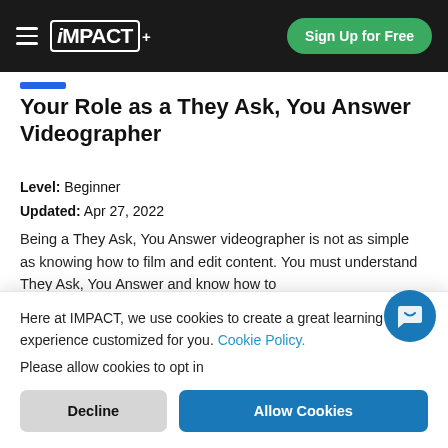iMPACT+ | Sign Up for Free
Your Role as a They Ask, You Answer Videographer
Level: Beginner
Updated: Apr 27, 2022
Being a They Ask, You Answer videographer is not as simple as knowing how to film and edit content. You must understand They Ask, You Answer and know how to
Lindsey Schmidt
Here at IMPACT, we use cookies to create a great learning experience customized for you. Cookie Policy.
Please allow cookies to opt in
Decline
Allow Cookies